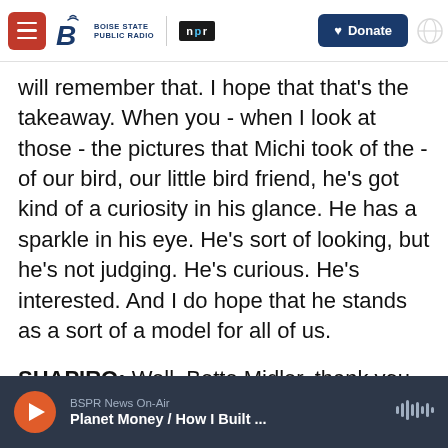Boise State Public Radio | NPR | Donate
will remember that. I hope that that's the takeaway. When you - when I look at those - the pictures that Michi took of the - of our bird, our little bird friend, he's got kind of a curiosity in his glance. He has a sparkle in his eye. He's sort of looking, but he's not judging. He's curious. He's interested. And I do hope that he stands as a sort of a model for all of us.
SHAPIRO: Well, Bette Midler, thank you for bringing us this book at a moment that I think many of us could use a little more color in our lives. It's been a pleasure talking with you about it.
BSPR News On-Air | Planet Money / How I Built ...